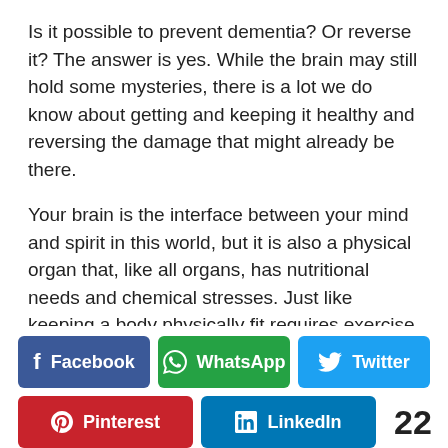Is it possible to prevent dementia? Or reverse it? The answer is yes. While the brain may still hold some mysteries, there is a lot we do know about getting and keeping it healthy and reversing the damage that might already be there.
Your brain is the interface between your mind and spirit in this world, but it is also a physical organ that, like all organs, has nutritional needs and chemical stresses. Just like keeping a body physically fit requires exercise and nutritious food, a brain needs to be fed and exercised to stay strong or get...